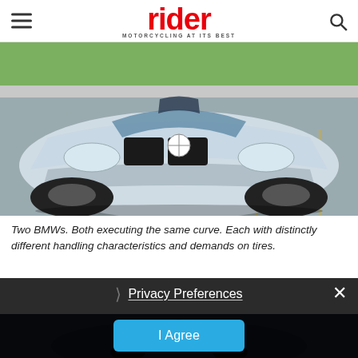rider — MOTORCYCLING AT ITS BEST
[Figure (photo): Front view of a silver BMW Z3 M coupe/roadster driving on a parking lot or autocross course, low angle shot showing the front bumper, grille, headlights, and BMW logo prominently]
Two BMWs. Both executing the same curve. Each with distinctly different handling characteristics and demands on tires.
[Figure (photo): Partially visible second photo of another BMW, dark/shadowed, cut off by privacy overlay]
Privacy Preferences
I Agree